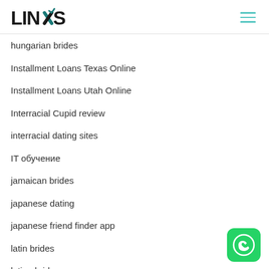LINXIS
hungarian brides
Installment Loans Texas Online
Installment Loans Utah Online
Interracial Cupid review
interracial dating sites
IT обучение
jamaican brides
japanese dating
japanese friend finder app
latin brides
latina brides
leptitnapo.fr
Live Porn
Live P…